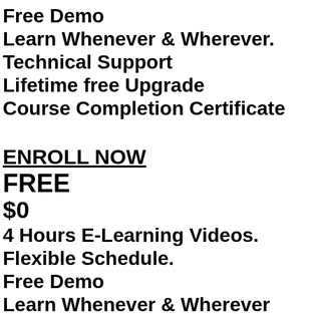Free Demo
Learn Whenever & Wherever.
Technical Support
Lifetime free Upgrade
Course Completion Certificate
ENROLL NOW
FREE
$0
4 Hours E-Learning Videos.
Flexible Schedule.
Free Demo
Learn Whenever & Wherever
Lifetime free Upgrade